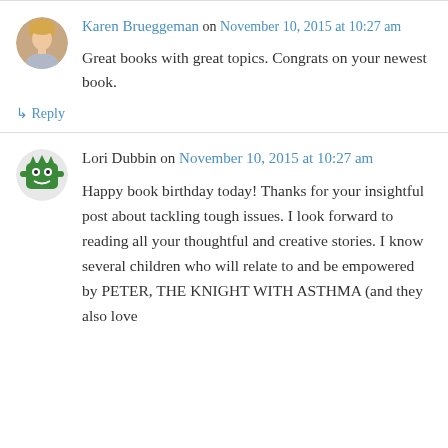Karen Brueggeman on November 10, 2015 at 10:27 am
Great books with great topics. Congrats on your newest book.
↳ Reply
Lori Dubbin on November 10, 2015 at 10:27 am
Happy book birthday today! Thanks for your insightful post about tackling tough issues. I look forward to reading all your thoughtful and creative stories. I know several children who will relate to and be empowered by PETER, THE KNIGHT WITH ASTHMA (and they also love